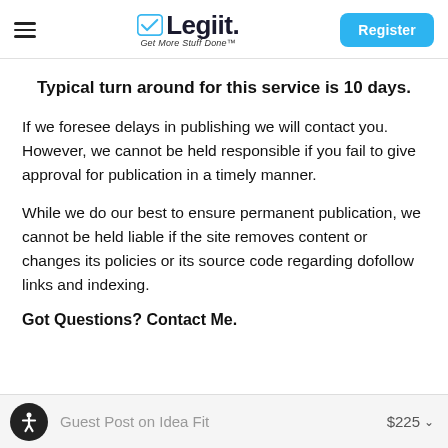Legiit — Get More Stuff Done™ | Register
Typical turn around for this service is 10 days.
If we foresee delays in publishing we will contact you. However, we cannot be held responsible if you fail to give approval for publication in a timely manner.
While we do our best to ensure permanent publication, we cannot be held liable if the site removes content or changes its policies or its source code regarding dofollow links and indexing.
Got Questions? Contact Me.
Guest Post on Idea Fit  $225